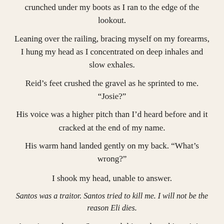crunched under my boots as I ran to the edge of the lookout.
Leaning over the railing, bracing myself on my forearms, I hung my head as I concentrated on deep inhales and slow exhales.
Reid’s feet crushed the gravel as he sprinted to me. “Josie?”
His voice was a higher pitch than I’d heard before and it cracked at the end of my name.
His warm hand landed gently on my back. “What’s wrong?”
I shook my head, unable to answer.
Santos was a traitor. Santos tried to kill me. I will not be the reason Eli dies.
A panic attack over Santos and this mole and imagining myself kill my little brother. At least that’s what I thought it was. I just needed the feeling to pass.
I had been after some other detail in his words when